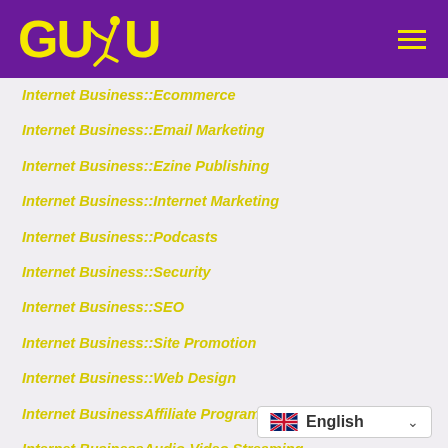[Figure (logo): GUDU logo with runner icon in yellow on purple background, with hamburger menu icon on the right]
Internet Business::Ecommerce
Internet Business::Email Marketing
Internet Business::Ezine Publishing
Internet Business::Internet Marketing
Internet Business::Podcasts
Internet Business::Security
Internet Business::SEO
Internet Business::Site Promotion
Internet Business::Web Design
Internet BusinessAffiliate Programs
Internet BusinessAudio-Video Streaming
Internet BusinessBlogging
English